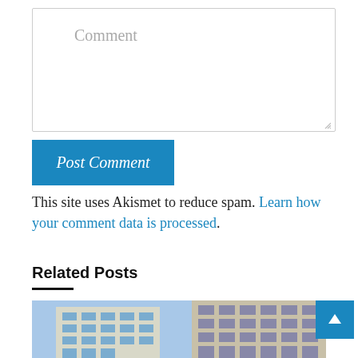Comment
Post Comment
This site uses Akismet to reduce spam. Learn how your comment data is processed.
Related Posts
[Figure (photo): Photograph of tall office/commercial buildings viewed from below against a blue sky, showing building facades with grid-like window patterns.]